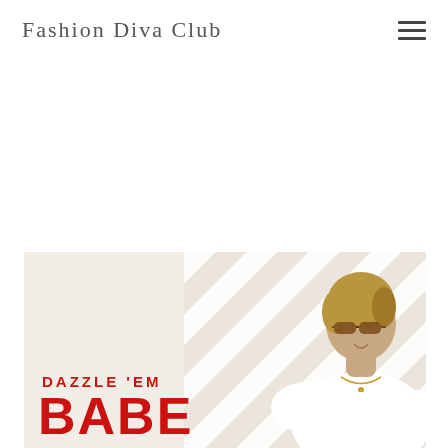Fashion Diva Club
[Figure (photo): Fashion promotional banner image showing a woman wearing sunglasses and a white top with puff sleeves, with text overlays reading 'DAZZLE 'EM' and 'BABE' in red bold lettering on a beige/cream background with diagonal white stripes suggesting an awning or canopy.]